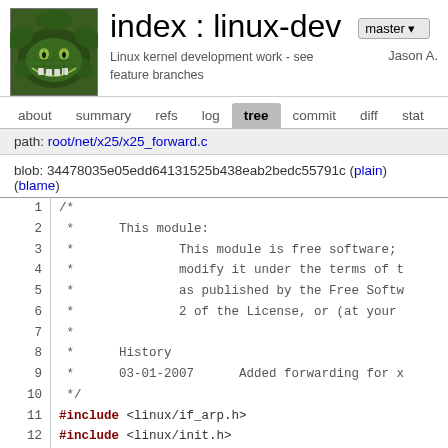[Figure (logo): Green cartoon face logo (Cheshire cat style) for cgit repository viewer]
index : linux-dev
Linux kernel development work - see feature branches
Jason A.
about  summary  refs  log  tree  commit  diff  stat
path: root/net/x25/x25_forward.c
blob: 34478035e05edd64131525b438eab2bedc55791c (plain) (blame)
1  /*
2   *      This module:
3   *              This module is free software;
4   *              modify it under the terms of t
5   *              as published by the Free Softw
6   *              2 of the License, or (at your
7   *
8   *      History
9   *      03-01-2007      Added forwarding for x
10  */
11 #include <linux/if_arp.h>
12 #include <linux/init.h>
13 #include <net/x25.h>
14